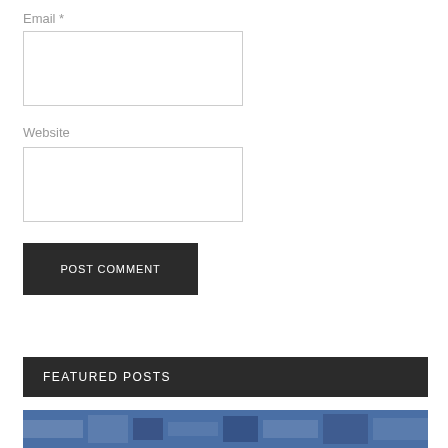Email *
[Figure (other): Email input text box (empty form field)]
Website
[Figure (other): Website input text box (empty form field)]
POST COMMENT
FEATURED POSTS
[Figure (photo): Partial photo of industrial or mechanical equipment, partially visible at bottom of page]